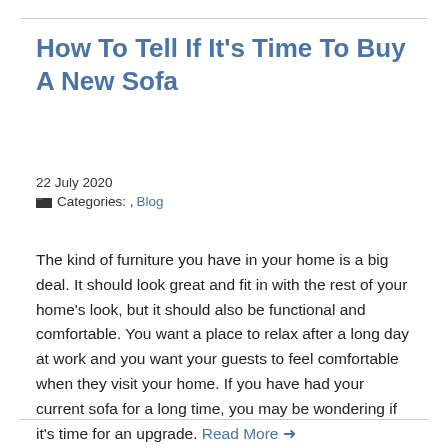How To Tell If It's Time To Buy A New Sofa
22 July 2020
Categories: , Blog
The kind of furniture you have in your home is a big deal. It should look great and fit in with the rest of your home's look, but it should also be functional and comfortable. You want a place to relax after a long day at work and you want your guests to feel comfortable when they visit your home. If you have had your current sofa for a long time, you may be wondering if it's time for an upgrade. Read More →